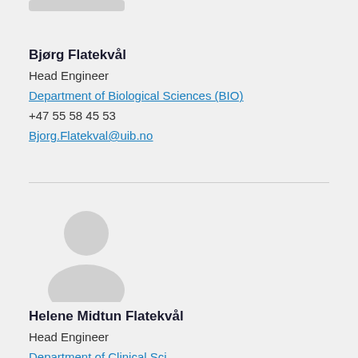[Figure (photo): Partial avatar placeholder image at top of page (cropped)]
Bjørg Flatekvål
Head Engineer
Department of Biological Sciences (BIO)
+47 55 58 45 53
Bjorg.Flatekval@uib.no
[Figure (photo): Generic placeholder avatar silhouette for Helene Midtun Flatekvål]
Helene Midtun Flatekvål
Head Engineer
Department of Clinical Sci...